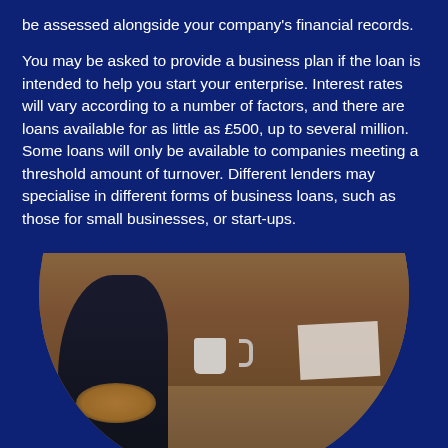be assessed alongside your company's financial records.
You may be asked to provide a business plan if the loan is intended to help you start your enterprise. Interest rates will vary according to a number of factors, and there are loans available for as little as £500, up to several million. Some loans will only be available to companies meeting a threshold amount of turnover. Different lenders may specialise in different forms of business loans, such as those for small businesses, or start-ups.
[Figure (photo): Circular-cropped photo showing a person with reddish-brown hair in a dark jacket sitting at a wooden table with a coffee mug, viewed from above/side, with a dark window frame and brick wall in the background.]